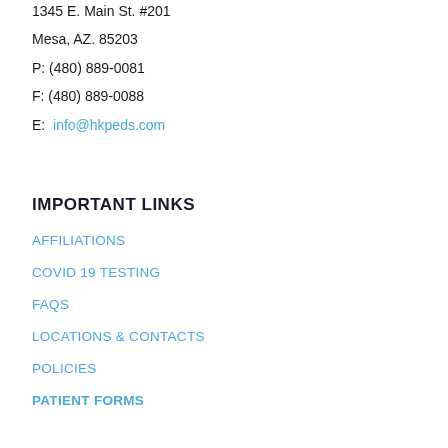1345 E. Main St. #201
Mesa, AZ. 85203
P: (480) 889-0081
F: (480) 889-0088
E:  info@hkpeds.com
IMPORTANT LINKS
AFFILIATIONS
COVID 19 TESTING
FAQS
LOCATIONS & CONTACTS
POLICIES
PATIENT FORMS